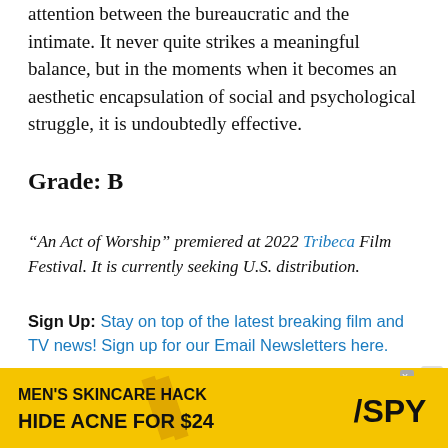attention between the bureaucratic and the intimate. It never quite strikes a meaningful balance, but in the moments when it becomes an aesthetic encapsulation of social and psychological struggle, it is undoubtedly effective.
Grade: B
“An Act of Worship” premiered at 2022 Tribeca Film Festival. It is currently seeking U.S. distribution.
Sign Up: Stay on top of the latest breaking film and TV news! Sign up for our Email Newsletters here.
THIS ARTICLE IS RELATED TO: Film, Reviews and tagged An Act of Worship, Reviews, Tribeca
[Figure (other): Advertisement banner: MEN'S SKINCARE HACK HIDE ACNE FOR $24 with SPY logo on yellow background]